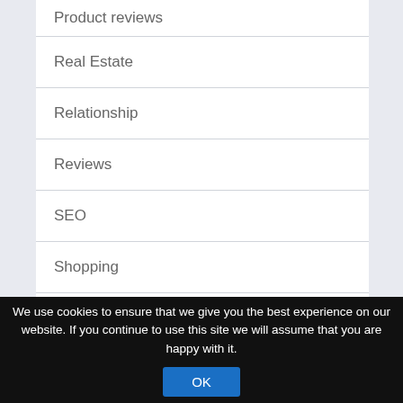Product reviews
Real Estate
Relationship
Reviews
SEO
Shopping
Shopping
We use cookies to ensure that we give you the best experience on our website. If you continue to use this site we will assume that you are happy with it.
OK